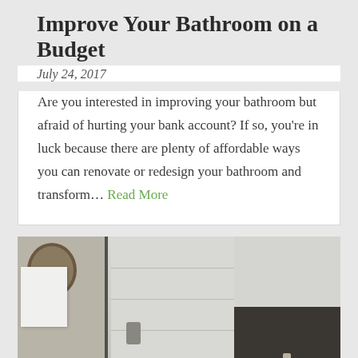Improve Your Bathroom on a Budget
July 24, 2017
Are you interested in improving your bathroom but afraid of hurting your bank account? If so, you're in luck because there are plenty of affordable ways you can renovate or redesign your bathroom and transform… Read More
[Figure (photo): Bathroom interior showing a glass shower enclosure with marble/tile walls, a vanity with dark countertop and round sink, and white cabinetry with a round mirror on the left wall.]